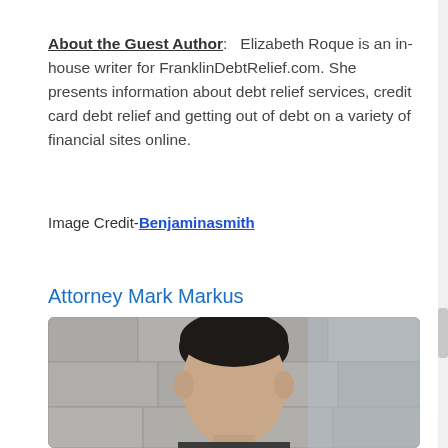About the Guest Author: Elizabeth Roque is an in-house writer for FranklinDebtRelief.com. She presents information about debt relief services, credit card debt relief and getting out of debt on a variety of financial sites online.
Image Credit-Benjaminasmith
Attorney Mark Markus
[Figure (photo): Portrait photo of Attorney Mark Markus, a man with dark hair photographed outdoors against a stone/concrete background]